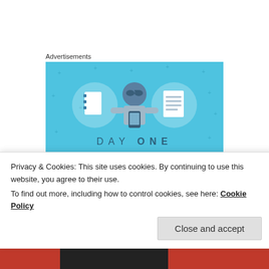Advertisements
[Figure (illustration): Day One journaling app advertisement on a light blue background featuring cartoon illustrations of a person holding a phone, flanked by two notebook icons. Text reads 'DAY ONE' and 'The only journaling']
And hey! This is the longest ever debunking of a
Privacy & Cookies: This site uses cookies. By continuing to use this website, you agree to their use.
To find out more, including how to control cookies, see here: Cookie Policy
Close and accept